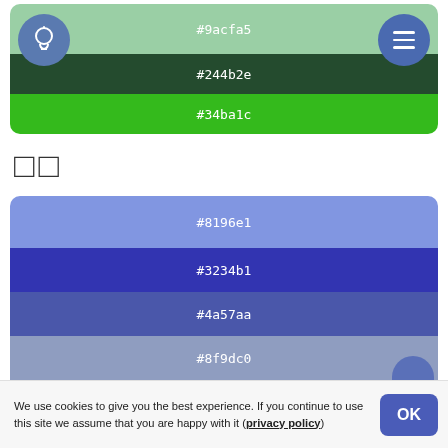[Figure (infographic): Color palette card with three horizontal color strips: #9acfa5 (light green), #244b2e (dark green), #34ba1c (bright green). A lightbulb icon circle on top-left and a menu icon circle on top-right overlay the card.]
□□
[Figure (infographic): Color palette card with five horizontal color strips: #8196e1 (light blue-purple), #3234b1 (dark blue), #4a57aa (medium blue-purple), #8f9dc0 (light blue-grey), #16276f (navy)]
We use cookies to give you the best experience. If you continue to use this site we assume that you are happy with it (privacy policy)